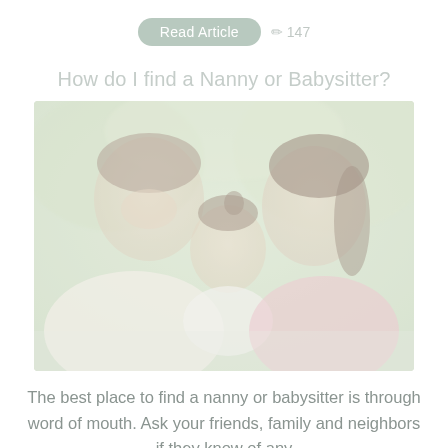Read Article  147
How do I find a Nanny or Babysitter?
[Figure (photo): A smiling family with a father on the left, a young toddler girl in the middle being held up, and a mother on the right, all laughing and posing outdoors with a bright, greenish blurred background. The image has a faded, washed-out appearance.]
The best place to find a nanny or babysitter is through word of mouth. Ask your friends, family and neighbors if they know of any